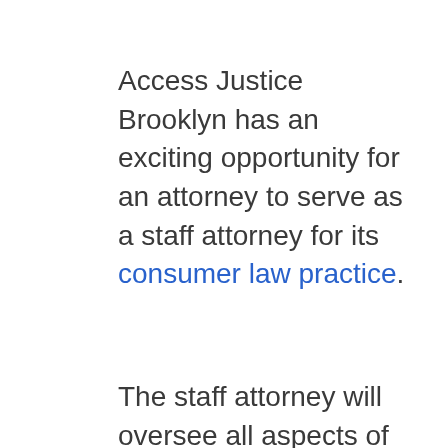Access Justice Brooklyn has an exciting opportunity for an attorney to serve as a staff attorney for its consumer law practice.
The staff attorney will oversee all aspects of our Volunteer Lawyer for the Day Consumer Debt Program (VLFD) program in Kings County Civil Court, and will work with our director of legal services and staff to strengthen our consumer debt practice, including Chapter 7 bankruptcy, Fair Debt Collection Practices Act practice, and The Civil Legal Advice and Resource Office (CLARO), which delivers critical advice and